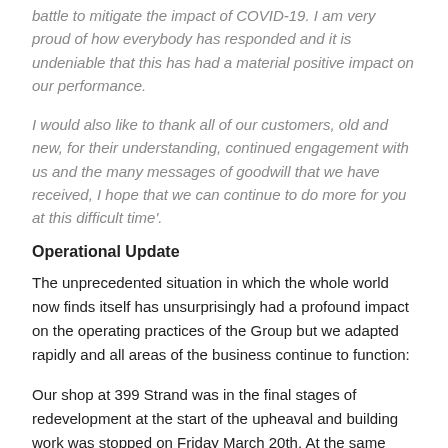battle to mitigate the impact of COVID-19. I am very proud of how everybody has responded and it is undeniable that this has had a material positive impact on our performance.
I would also like to thank all of our customers, old and new, for their understanding, continued engagement with us and the many messages of goodwill that we have received, I hope that we can continue to do more for you at this difficult time'.
Operational Update
The unprecedented situation in which the whole world now finds itself has unsurprisingly had a profound impact on the operating practices of the Group but we adapted rapidly and all areas of the business continue to function:
Our shop at 399 Strand was in the final stages of redevelopment at the start of the upheaval and building work was stopped on Friday March 20th. At the same time, in order to protect both staff and customers, we decided to